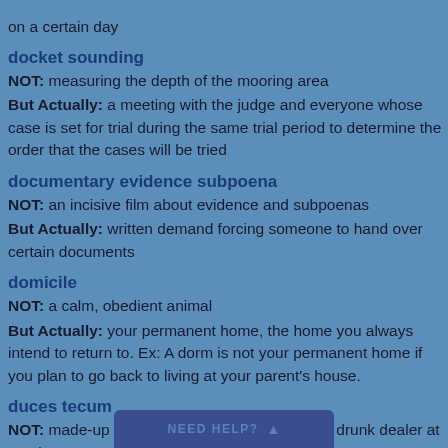on a certain day
docket sounding
NOT: measuring the depth of the mooring area
But Actually: a meeting with the judge and everyone whose case is set for trial during the same trial period to determine the order that the cases will be tried
documentary evidence subpoena
NOT: an incisive film about evidence and subpoenas
But Actually: written demand forcing someone to hand over certain documents
domicile
NOT: a calm, obedient animal
But Actually: your permanent home, the home you always intend to return to. Ex: A dorm is not your permanent home if you plan to go back to living at your parent's house.
duces tecum
NOT: made-up value of the two card given by a drunk dealer at a poker game
But Actually: Latin fo... n used in the